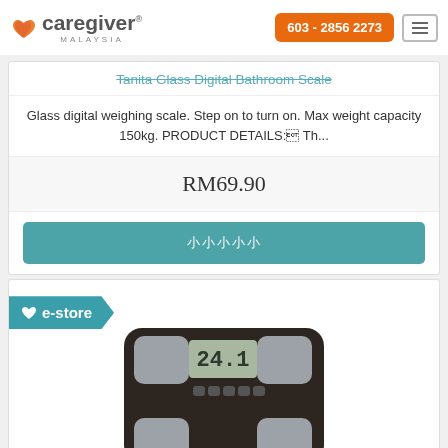[Figure (logo): Caregiver Malaysia logo with orange heart icon and orange phone button showing 603 - 2856 2273]
Tanita Glass Digital Bathroom Scale
Glass digital weighing scale. Step on to turn on. Max weight capacity 150kg. PRODUCT DETAILS: Th...
RM69.90
小小小小小
[Figure (photo): Tanita body composition bathroom scale, dark brown/black, with LCD display showing 24.1, electrode pads on corners, and e-store badge]